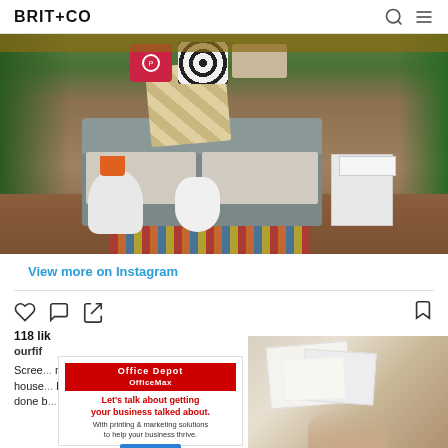BRIT+CO
[Figure (photo): Outdoor patio/deck scene with wicker sectional sofa, decorative pillows including a red pillow and black-and-white patterned pillow, plaid blanket, small ceramic garden stool, potted succulent plant, colorful rug, and surrounding plants and greenery]
View more on Instagram
118 li...
ourfif...
Scree... new house... her done b... the
[Figure (photo): Flatlay photo of papers, stationary items on a wooden table with a person visible]
[Figure (advertisement): Office Depot OfficeMax advertisement: Let's talk about getting your business talked about. With printing & marketing solutions to help your business thrive. Learn more button.]